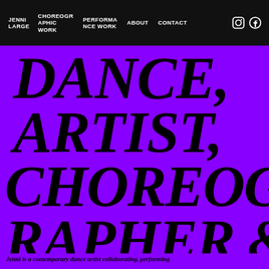JENNI LARGE | CHOREOGRAPHIC WORK | PERFORMANCE WORK | ABOUT | CONTACT
DANCE ARTIST, CHOREOGRAPHER & TEACHER
Jenni is a contemporary dance artist collaborating, performing